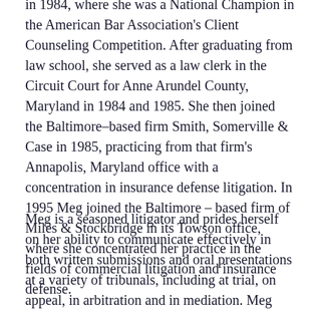in 1984, where she was a National Champion in the American Bar Association's Client Counseling Competition. After graduating from law school, she served as a law clerk in the Circuit Court for Anne Arundel County, Maryland in 1984 and 1985. She then joined the Baltimore–based firm Smith, Somerville & Case in 1985, practicing from that firm's Annapolis, Maryland office with a concentration in insurance defense litigation. In 1995 Meg joined the Baltimore – based firm of Miles & Stockbridge in its Towson office, where she concentrated her practice in the fields of commercial litigation and insurance defense.
Meg is a seasoned litigator and prides herself on her ability to communicate effectively in both written submissions and oral presentations at a variety of tribunals, including at trial, on appeal, in arbitration and in mediation. Meg regularly encourages her clients to mediate before pursuing litigation, but is a fierce advocate for her client's cause when mediation